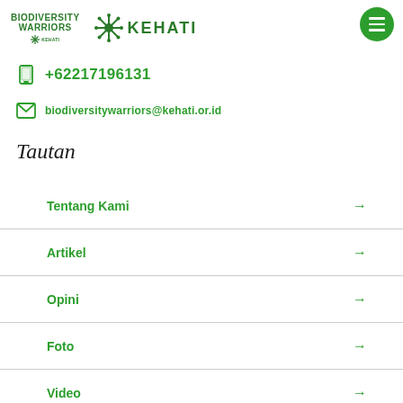BIODIVERSITY WARRIORS by KEHATI | KEHATI
+62217196131
biodiversitywarriors@kehati.or.id
Tautan
Tentang Kami →
Artikel →
Opini →
Foto →
Video →